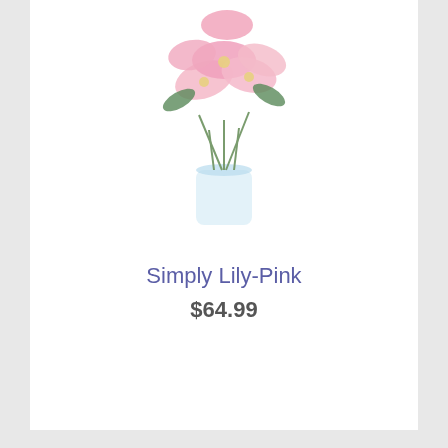[Figure (photo): Pink lily flowers in a clear glass vase, cropped at top — partial view of a floral product photo]
Simply Lily-Pink
$64.99
[Figure (photo): Pink roses and white oriental lilies arranged in a clear glass vase — full bouquet product photo]
Pink & Pretty Bouquet